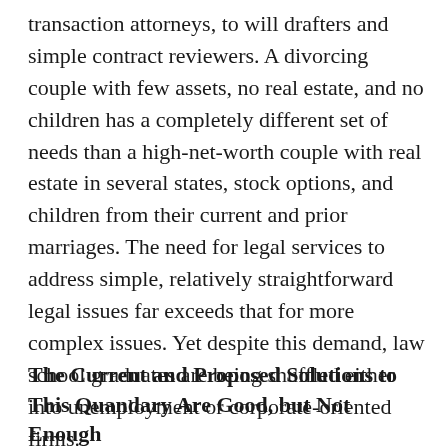transaction attorneys, to will drafters and simple contract reviewers. A divorcing couple with few assets, no real estate, and no children has a completely different set of needs than a high-net-worth couple with real estate in several states, stock options, and children from their current and prior marriages. The need for legal services to address simple, relatively straightforward legal issues far exceeds that for more complex issues. Yet despite this demand, law school graduates are being shuffled either into unemployment or corporate-oriented firms.
The Current and Proposed Solutions to This Quandary Are Good, but Not Enough